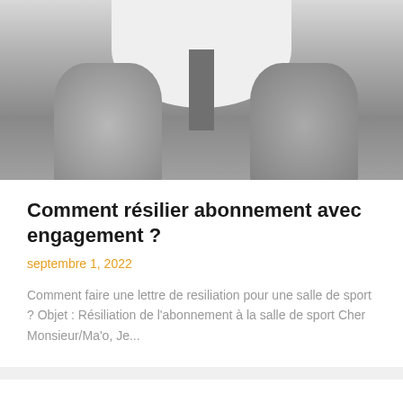[Figure (photo): Black and white photograph of a person's lower torso wearing light-colored shorts, cropped mid-body showing legs]
Comment résilier abonnement avec engagement ?
septembre 1, 2022
Comment faire une lettre de resiliation pour une salle de sport ? Objet : Résiliation de l'abonnement à la salle de sport Cher Monsieur/Ma'o, Je...